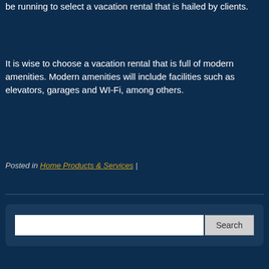be running to select a vacation rental that is hailed by clients.
It is wise to choose a vacation rental that is full of modern amenities. Modern amenities will include facilities such as elevators, garages and WI-Fi, among others.
Posted in Home Products & Services |
Search
Recent Posts
Tips to Improve Your Social Media Visual Strategy
Get Organic Swing Tags To Elevate Your Brand: Order Online